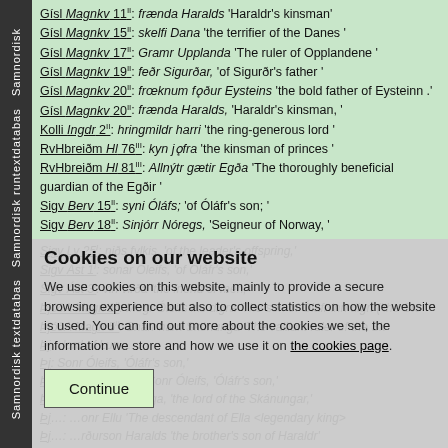Samnordisk textdatabas Samnordisk runtextdatabas Samnordisk
Gísl Magnkv 11II: frænda Haralds 'Haraldr's kinsman'
Gísl Magnkv 15II: skelfi Dana 'the terrifier of the Danes '
Gísl Magnkv 17II: Gramr Upplanda 'The ruler of Opplandene '
Gísl Magnkv 19II: feðr Sigurðar, 'of Sigurðr's father '
Gísl Magnkv 20II: frœknum fǫður Eysteins 'the bold father of Eysteinn .'
Gísl Magnkv 20II: frænda Haralds, 'Haraldr's kinsman, '
Kolli Ingdr 2II: hringmildr harri 'the ring-generous lord '
RvHbreiðm Hl 76III: kyn jǫfra 'the kinsman of princes '
RvHbreiðm Hl 81III: Allnýtr gætir Egða 'The thoroughly beneficial guardian of the Egðir '
Sigv Berv 15II: syni Óláfs; 'of Óláfr's son; '
Sigv Berv 18II: Sinjórr Nóregs, 'Seigneur of Norway, '
Sigv Lv 25I: niðs fylkis, 'of the leader's offspring,'
Sigv Ást 1I: sonar Óleifs, 'of Óláfr's son,'
Sigv Ást 3I: vin virða 'the friend of men,'
ÞjóðA Magn 1II: Mogr Óleifs ins digra 'The son of Óláfr inn digri ('the Sto…
ÞjóðA Magn 5II: Snarr harri Skónunga 'The valliant ruler of the Sk…
ÞjóðA Magn …: …lord of Lun…
ÞjóðA …: Sonr Óleifs, 'Óláfr's son,'
ÞjóðA Sk Magnfl …: Sonr Óleifs, 'Óláfr's son,'
ÞjóðA …: …ramr Skónunga, 'the lord of the Skánungar,'
ÞjóðA …: …onr Ellu 'The descendant of Ella <legendary king>'
ÞjóðA …: …rðurson Haralds 'the brother's son of Haraldr'
ÞjóðA Magnfl 16II: ræsir Þrœnda; 'ruler of the Þrœndir;'
ÞjóðA Magnfl 17II: Mætir gramr Mœra 'The excellent lord of the Mœrir'
ÞjóðA Magnfl 19II: Buðlungr Þrœnda 'The prince of the Þrœndir'
Cookies on our website

We use cookies on this website, mainly to provide a secure browsing experience but also to collect statistics on how the website is used. You can find out more about the cookies we set, the information we store and how we use it on the cookies page.
Continue